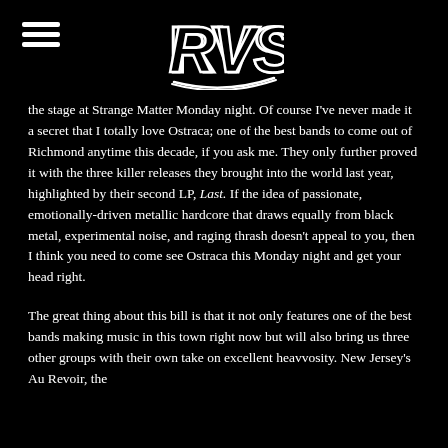RVS logo and hamburger menu
the stage at Strange Matter Monday night. Of course I've never made it a secret that I totally love Ostraca; one of the best bands to come out of Richmond anytime this decade, if you ask me. They only further proved it with the three killer releases they brought into the world last year, highlighted by their second LP, Last. If the idea of passionate, emotionally-driven metallic hardcore that draws equally from black metal, experimental noise, and raging thrash doesn't appeal to you, then I think you need to come see Ostraca this Monday night and get your head right.
The great thing about this bill is that it not only features one of the best bands making music in this town right now but will also bring us three other groups with their own take on excellent heavvosity. New Jersey's Au Revoir, the